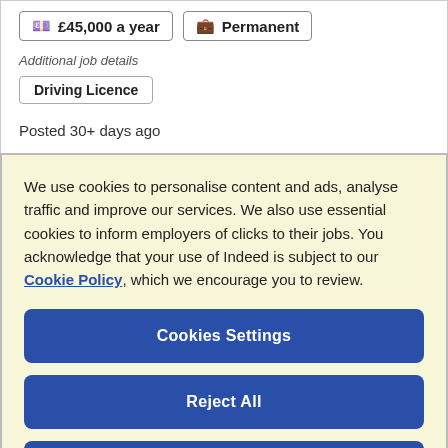£45,000 a year   Permanent
Additional job details
Driving Licence
Posted 30+ days ago
We use cookies to personalise content and ads, analyse traffic and improve our services. We also use essential cookies to inform employers of clicks to their jobs. You acknowledge that your use of Indeed is subject to our Cookie Policy, which we encourage you to review.
Cookies Settings
Reject All
Accept All Cookies